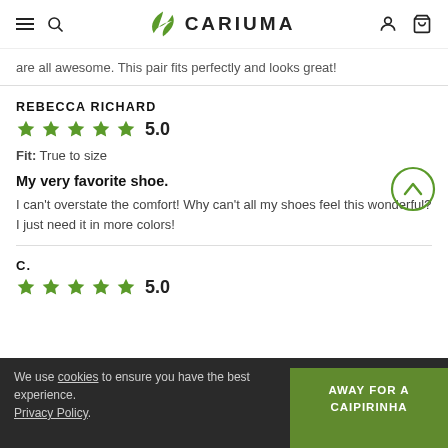CARIUMA
are all awesome. This pair fits perfectly and looks great!
REBECCA RICHARD
5.0
Fit: True to size
My very favorite shoe.
I can't overstate the comfort! Why can't all my shoes feel this wonderful? I just need it in more colors!
C.
5.0
We use cookies to ensure you have the best experience. Privacy Policy.
AWAY FOR A CAIPIRINHA